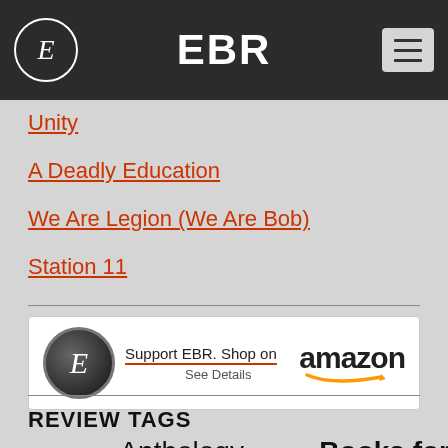EBR
Unity
A Deadly Education
We Are Legion (We Are Bob)
Station 11
[Figure (illustration): Amazon affiliate banner: EBR logo circle, 'Support EBR. Shop on amazon' with smile logo, 'See Details']
REVIEW TAGS
alternate history   Anthology   Audible   Books for